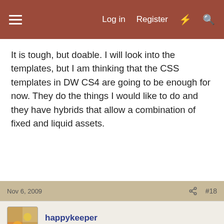Log in  Register
It is tough, but doable. I will look into the templates, but I am thinking that the CSS templates in DW CS4 are going to be enough for now. They do the things I would like to do and they have hybrids that allow a combination of fixed and liquid assets.
Nov 6, 2009  #18
happykeeper
Well-known member
catlady said: ↑
knkbnb said: ↑
catlady said: ↑
knkbnb said: ↑